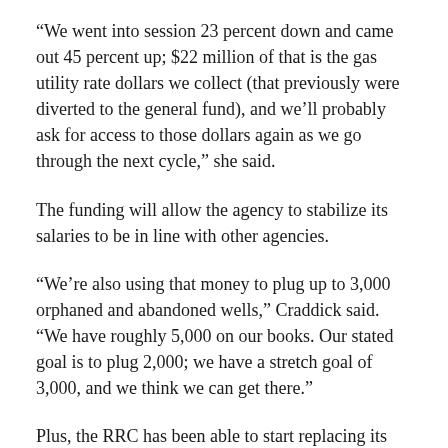“We went into session 23 percent down and came out 45 percent up; $22 million of that is the gas utility rate dollars we collect (that previously were diverted to the general fund), and we’ll probably ask for access to those dollars again as we go through the next cycle,” she said.
The funding will allow the agency to stabilize its salaries to be in line with other agencies.
“We’re also using that money to plug up to 3,000 orphaned and abandoned wells,” Craddick said. “We have roughly 5,000 on our books. Our stated goal is to plug 2,000; we have a stretch goal of 3,000, and we think we can get there.”
Plus, the RRC has been able to start replacing its fleet of pickups, which take inspectors to sites often far away from civilization.
“We have roughly 250 vehicles in our fleet, and we drive them a minimum of 150,000 miles each; we’re past that on